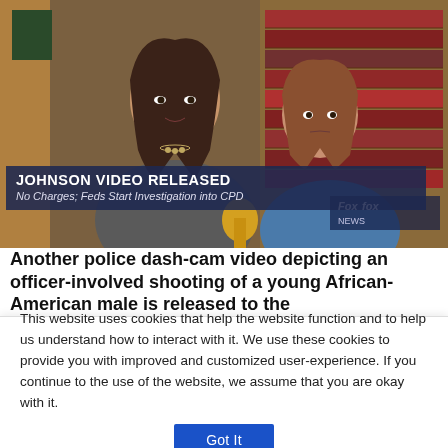[Figure (photo): News photo showing two women at a press conference in a room lined with law books. A lower-third chyron reads 'JOHNSON VIDEO RELEASED' with subtitle 'No Charges; Feds Start Investigation into CPD'. Fox News logo visible in lower right.]
Another police dash-cam video depicting an officer-involved shooting of a young African-American male is released to the
This website uses cookies that help the website function and to help us understand how to interact with it. We use these cookies to provide you with improved and customized user-experience. If you continue to the use of the website, we assume that you are okay with it.
Got It